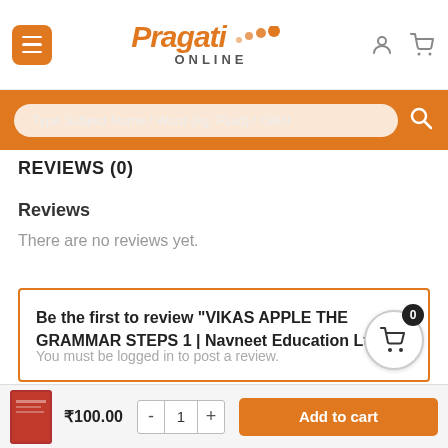[Figure (logo): Pragati Online logo with orange text and menu button, user and cart icons]
Type Subject Name / Word (eg. Fluid) / ISBN
REVIEWS (0)
Reviews
There are no reviews yet.
Be the first to review “VIKAS APPLE THE GRAMMAR STEPS 1 | Navneet Education Ltd”
You must be logged in to post a review.
₹100.00
Add to cart